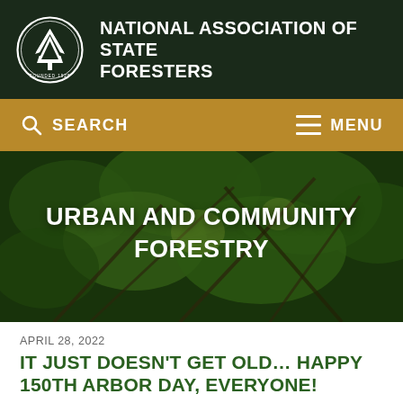[Figure (logo): National Association of State Foresters logo: circular emblem with tree design, white on dark background, with organization name text]
NATIONAL ASSOCIATION OF STATE FORESTERS
[Figure (screenshot): Gold/amber navigation bar with SEARCH on the left and MENU on the right, with search and hamburger icons]
[Figure (photo): Forest canopy photo showing green pine/fir tree branches with light filtering through, dark green and brown tones, with overlaid text URBAN AND COMMUNITY FORESTRY]
URBAN AND COMMUNITY FORESTRY
APRIL 28, 2022
IT JUST DOESN'T GET OLD… HAPPY 150TH ARBOR DAY, EVERYONE!
By John Erixson This Friday, we celebrate the 150th